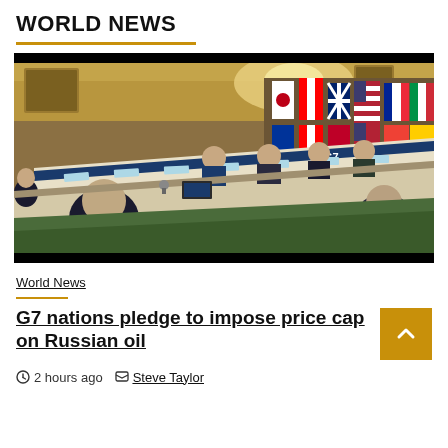WORLD NEWS
[Figure (photo): G7 nations meeting at an ornate conference room. Leaders seated around a long rectangular table with G7 branded signage. Multiple country flags visible in background including USA, UK, Canada, Japan, France, Italy, and EU. Officials in suits seated along both sides of the table.]
World News
G7 nations pledge to impose price cap on Russian oil
2 hours ago  Steve Taylor